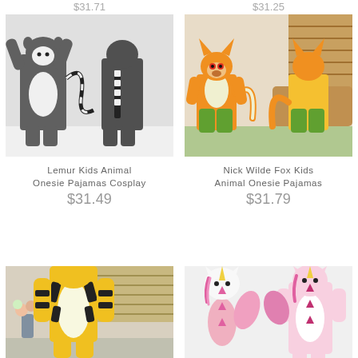$31.71
$31.25
[Figure (photo): Two children wearing grey lemur animal onesie pajamas, front and back view, on white background]
Lemur Kids Animal Onesie Pajamas Cosplay
$31.49
[Figure (photo): Two children wearing orange and green Nick Wilde Fox animal onesie pajamas, front and back view]
Nick Wilde Fox Kids Animal Onesie Pajamas
$31.79
[Figure (photo): Child wearing yellow and black tiger animal onesie pajamas, partial view at bottom of page]
[Figure (photo): Child wearing white and pink unicorn animal onesie pajamas, partial view at bottom of page]